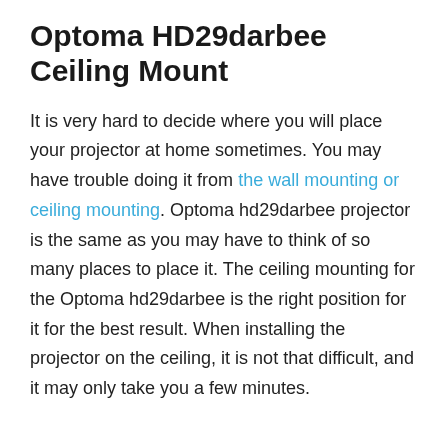Optoma HD29darbee Ceiling Mount
It is very hard to decide where you will place your projector at home sometimes. You may have trouble doing it from the wall mounting or ceiling mounting. Optoma hd29darbee projector is the same as you may have to think of so many places to place it. The ceiling mounting for the Optoma hd29darbee is the right position for it for the best result. When installing the projector on the ceiling, it is not that difficult, and it may only take you a few minutes.